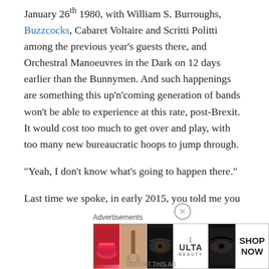January 26th 1980, with William S. Burroughs, Buzzcocks, Cabaret Voltaire and Scritti Politti among the previous year's guests there, and Orchestral Manoeuvres in the Dark on 12 days earlier than the Bunnymen. And such happenings are something this up'n'coming generation of bands won't be able to experience at this rate, post-Brexit. It would cost too much to get over and play, with too many new bureaucratic hoops to jump through.
“Yeah, I don’t know what’s going to happen there.”
Last time we spoke, in early 2015, you told me you weren’t a big reader and you’d rather put a record on. You seem to have proved yourself wrong on that front.
[Figure (other): Ulta Beauty advertisement banner with close button, showing makeup product imagery (lips, brush, eye) and ULTA logo with SHOP NOW text]